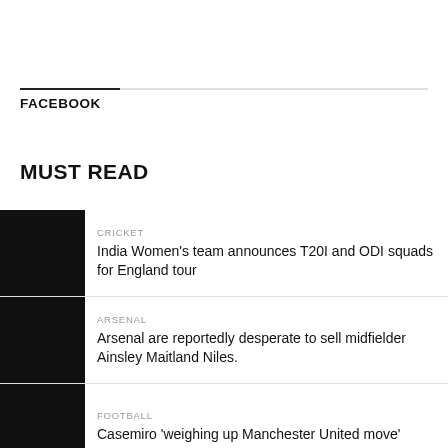FACEBOOK
MUST READ
CRICKET
India Women's team announces T20I and ODI squads for England tour
ARSENAL
Arsenal are reportedly desperate to sell midfielder Ainsley Maitland Niles.
FOOTBALL
Casemiro 'weighing up Manchester United move'
ARSENAL
Arsenal are reportedly interested in signing